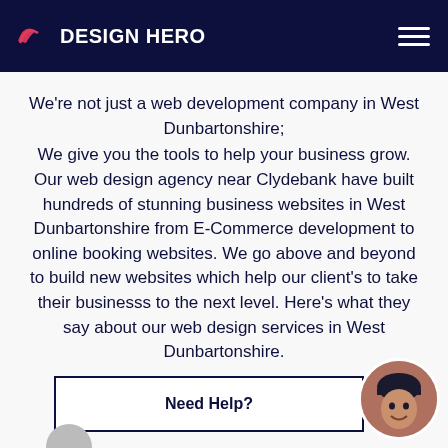DESIGN HERO
We're not just a web development company in West Dunbartonshire;
We give you the tools to help your business grow. Our web design agency near Clydebank have built hundreds of stunning business websites in West Dunbartonshire from E-Commerce development to online booking websites. We go above and beyond to build new websites which help our client's to take their businesss to the next level. Here's what they say about our web design services in West Dunbartonshire.
Need Help?